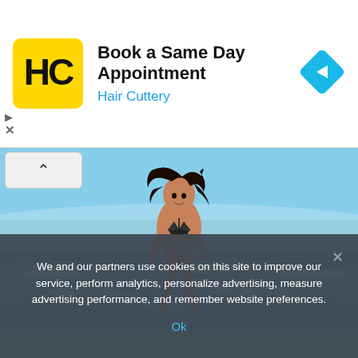[Figure (logo): Hair Cuttery logo: yellow square with black 'HC' letters in stylized font]
Book a Same Day Appointment
Hair Cuttery
[Figure (illustration): Cyan/blue diamond navigation arrow icon pointing right]
[Figure (photo): Woman in black bikini running on beach with waves in background, smiling]
We and our partners use cookies on this site to improve our service, perform analytics, personalize advertising, measure advertising performance, and remember website preferences.
Ok